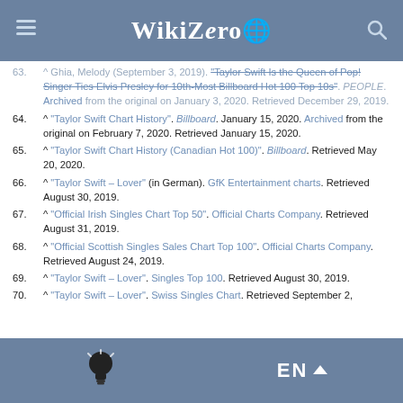WikiZero
63. ^ Ghia, Melody (September 3, 2019). "Taylor Swift Is the Queen of Pop! Singer Ties Elvis Presley for 10th-Most Billboard Hot 100 Top 10s". PEOPLE. Archived from the original on January 3, 2020. Retrieved December 29, 2019.
64. ^ "Taylor Swift Chart History". Billboard. January 15, 2020. Archived from the original on February 7, 2020. Retrieved January 15, 2020.
65. ^ "Taylor Swift Chart History (Canadian Hot 100)". Billboard. Retrieved May 20, 2020.
66. ^ "Taylor Swift – Lover" (in German). GfK Entertainment charts. Retrieved August 30, 2019.
67. ^ "Official Irish Singles Chart Top 50". Official Charts Company. Retrieved August 31, 2019.
68. ^ "Official Scottish Singles Sales Chart Top 100". Official Charts Company. Retrieved August 24, 2019.
69. ^ "Taylor Swift – Lover". Singles Top 100. Retrieved August 30, 2019.
70. ^ "Taylor Swift – Lover". Swiss Singles Chart. Retrieved September 2,
EN